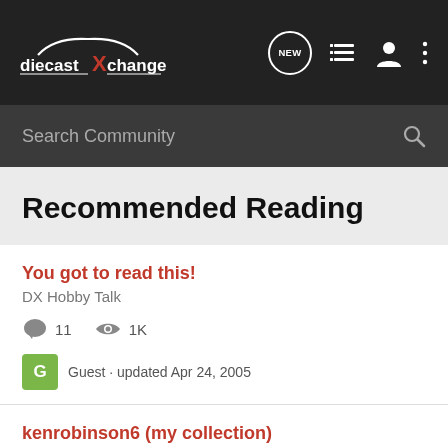[Figure (logo): diecastXchange logo in white on dark background]
Search Community
Recommended Reading
You got to read this!
DX Hobby Talk
11  1K
Guest · updated Apr 24, 2005
kenrobinson6 (my collection)
DX Multi-Scale Collectors
96  6K